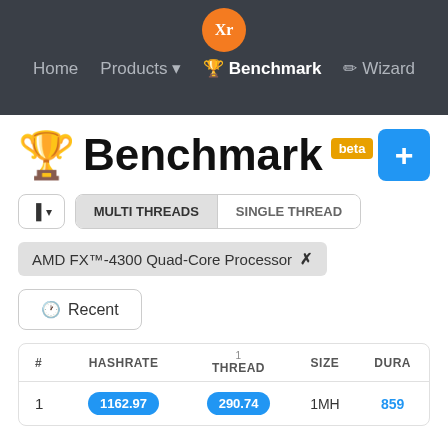Xr | Home | Products | Benchmark | Wizard
Benchmark beta
MULTI THREADS | SINGLE THREAD
AMD FX™-4300 Quad-Core Processor ✗
Recent
| # | HASHRATE | 1 THREAD | SIZE | DURA |
| --- | --- | --- | --- | --- |
| 1 | 1162.97 | 290.74 | 1MH | 859 |